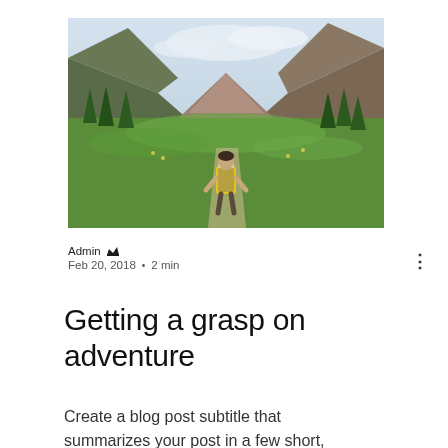[Figure (photo): Person with yellow backpack hiking through a green mountain valley with trees and rocky peaks in the background]
Admin 👑
Feb 20, 2018 · 2 min
Getting a grasp on adventure
Create a blog post subtitle that summarizes your post in a few short,